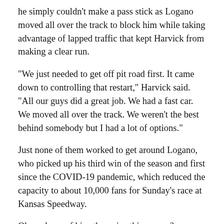he simply couldn't make a pass stick as Logano moved all over the track to block him while taking advantage of lapped traffic that kept Harvick from making a clear run.
“We just needed to get off pit road first. It came down to controlling that restart,” Harvick said. “All our guys did a great job. We had a fast car. We moved all over the track. We weren’t the best behind somebody but I had a lot of options.”
Just none of them worked to get around Logano, who picked up his third win of the season and first since the COVID-19 pandemic, which reduced the capacity to about 10,000 fans for Sunday’s race at Kansas Speedway.
Oh, and one of his other wins this season? Phoenix, where Logano will now race for a title.
“I spent more time looking in the mirror than I did